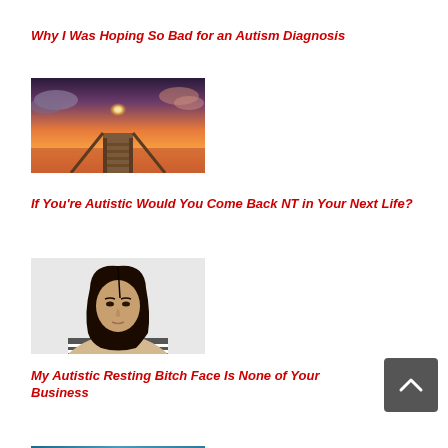[Figure (photo): Partial image of article thumbnail at the very top (cropped), appears to be a blue/teal scene]
Why I Was Hoping So Bad for an Autism Diagnosis
[Figure (photo): A wooden dock/pier extending into water at sunset, dramatic orange and purple sky with bright sun]
If You're Autistic Would You Come Back NT in Your Next Life?
[Figure (photo): A young woman with long dark hair wearing a striped top, neutral expression, on a light grey background]
My Autistic Resting Bitch Face Is None of Your Business
[Figure (photo): Partial image of another article thumbnail at the bottom (cropped), appears to be a blue scene]